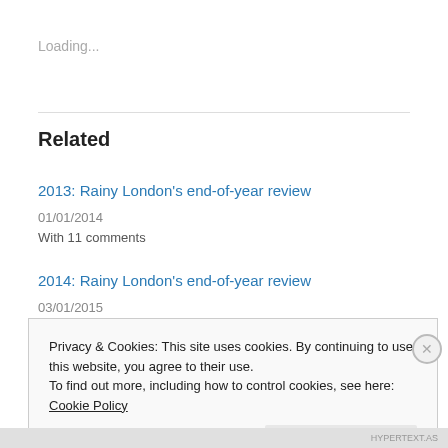Loading...
Related
2013: Rainy London's end-of-year review
01/01/2014
With 11 comments
2014: Rainy London's end-of-year review
03/01/2015
With 4 comments
Privacy & Cookies: This site uses cookies. By continuing to use this website, you agree to their use.
To find out more, including how to control cookies, see here: Cookie Policy
Close and accept